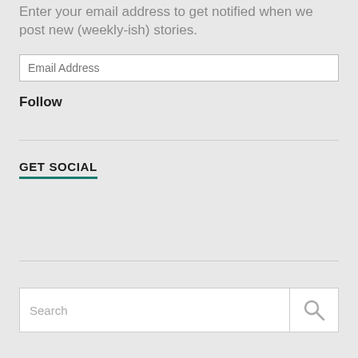Enter your email address to get notified when we post new (weekly-ish) stories.
Email Address
Follow
GET SOCIAL
Search